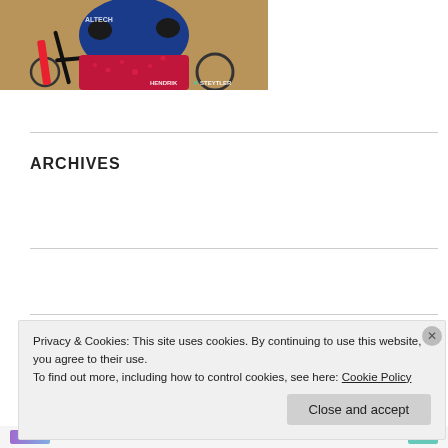[Figure (photo): A cyclist in blue and red cycling kit with gloves, sitting on a mountain bike. Watermark reads HENDRIK STEYTLER.]
ARCHIVES
July 2016
May 2016
Privacy & Cookies: This site uses cookies. By continuing to use this website, you agree to their use.
To find out more, including how to control cookies, see here: Cookie Policy
Close and accept